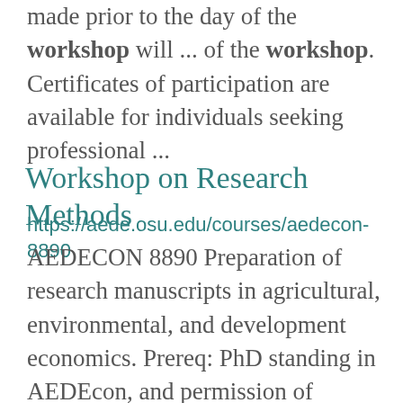made prior to the day of the workshop will ... of the workshop. Certificates of participation are available for individuals seeking professional ...
Workshop on Research Methods
https://aede.osu.edu/courses/aedecon-8890
AEDECON 8890 Preparation of research manuscripts in agricultural, environmental, and development economics. Prereq: PhD standing in AEDEcon, and permission of instructor. This course is graded S/U. Graduate 2.0 In Person PhD Program Agricultural, Environm ...